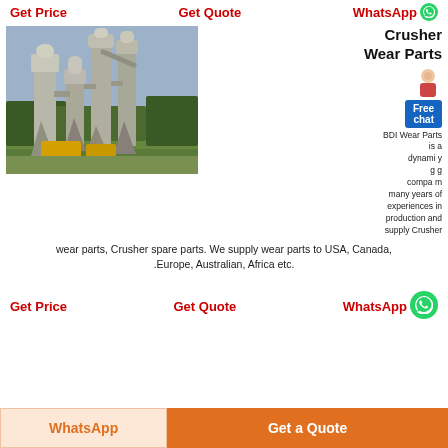Get Price   Get Quote   WhatsApp
[Figure (photo): Industrial crusher/grinding plant facility with large cylindrical towers, hoppers, and processing equipment set against trees and sky]
Crusher Wear Parts
BDI Wear Parts is a dynamically growing company having many years of experiences in production and supply Crusher wear parts, Crusher spare parts. We supply wear parts to USA, Canada, Europe, Australian, Africa etc.
Get Price   Get Quote   WhatsApp
WhatsApp   Get a Quote